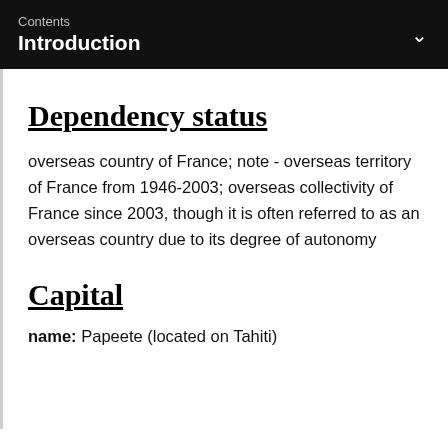Contents
Introduction
Dependency status
overseas country of France; note - overseas territory of France from 1946-2003; overseas collectivity of France since 2003, though it is often referred to as an overseas country due to its degree of autonomy
Capital
name: Papeete (located on Tahiti)